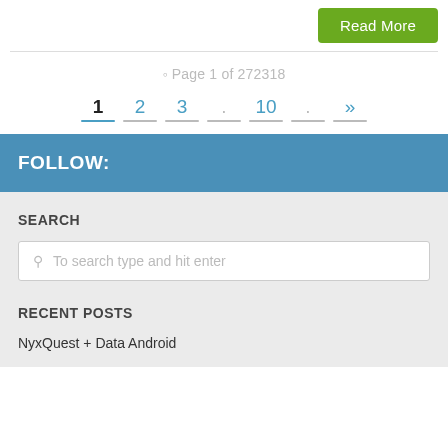Read More
Page 1 of 272318
1  2  3  .  10  .  »
FOLLOW:
SEARCH
To search type and hit enter
RECENT POSTS
NyxQuest + Data Android